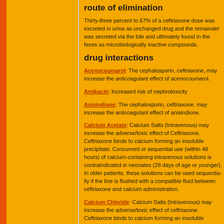route of elimination
Thirty-three percent to 67% of a ceftriaxone dose was excreted in urine as unchanged drug and the remainder was secreted via the bile and ultimately found in the feces as microbiologically inactive compounds.
drug interactions
Acenocoumarol: The cephalosporin, ceftriaxone, may increase the anticoagulant effect of acenocoumarol.
Amikacin: Increased risk of nephrotoxicity
Anisindione: The cephalosporin, ceftriaxone, may increase the anticoagulant effect of anisindione.
Calcium Acetate: Calcium Salts (Intravenous) may increase the adverse/toxic effect of Ceftriaxone. Ceftriaxone binds to calcium forming an insoluble precipitate. Concurrent or sequential use (within 48 hours) of calcium-containing intravenous solutions is contraindicated in neonates (28 days of age or younger). In older patients, these solutions can be used sequentially if the line is flushed with a compatible fluid between ceftriaxone and calcium administration.
Calcium Chloride: Calcium Salts (Intravenous) may increase the adverse/toxic effect of ceftriaxone. Ceftriaxone binds to calcium forming an insoluble precipitate. Concurrent or sequential use (within 48 hours) of calcium-containing intravenous solutions is contraindicated in neonates (28 days of age or younger). In older patients, these solutions can be used sequentially...